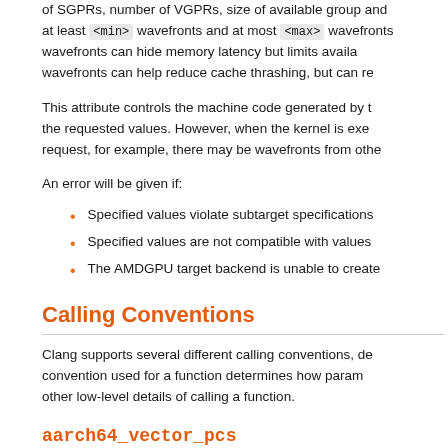of SGPRs, number of VGPRs, size of available group and at least <min> wavefronts and at most <max> wavefronts wavefronts can hide memory latency but limits availa wavefronts can help reduce cache thrashing, but can re
This attribute controls the machine code generated by t the requested values. However, when the kernel is exe request, for example, there may be wavefronts from othe
An error will be given if:
Specified values violate subtarget specifications
Specified values are not compatible with values
The AMDGPU target backend is unable to create
Calling Conventions
Clang supports several different calling conventions, de convention used for a function determines how param other low-level details of calling a function.
aarch64_vector_pcs